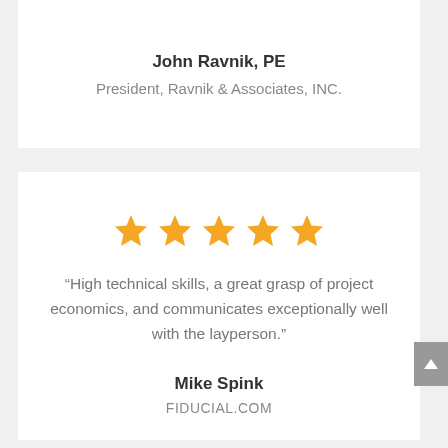John Ravnik, PE
President, Ravnik & Associates, INC.
[Figure (other): Five orange star rating icons]
“High technical skills, a great grasp of project economics, and communicates exceptionally well with the layperson.”
Mike Spink
FIDUCIAL.COM